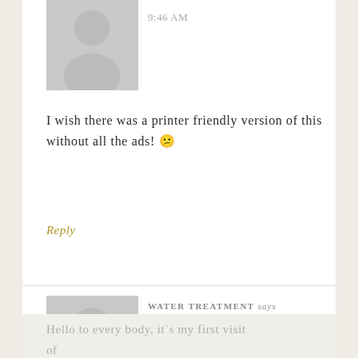9:46 AM
I wish there was a printer friendly version of this without all the ads! 🙁
Reply
[Figure (illustration): Gray avatar placeholder silhouette for second commenter]
WATER TREATMENT says
OCTOBER 29, 2016 AT 9:12 AM
Hello to every body, it`s my first visit of